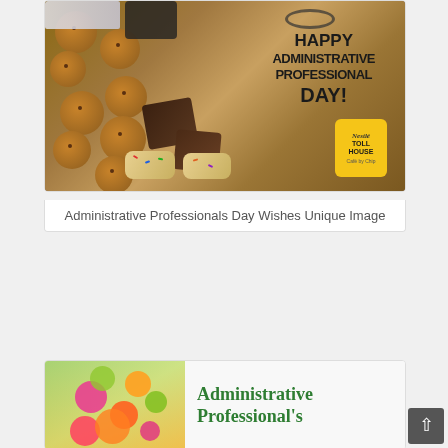[Figure (photo): Happy Administrative Professionals Day promotional image from Nestlé Toll House Café showing cookies, brownies, and baked goods on a wooden desk with notebook, phone, sticky notes, and glasses]
Administrative Professionals Day Wishes Unique Image
[Figure (photo): Administrative Professionals Day image with colorful flower bouquet on left and green text reading 'Administrative Professional's' on right]